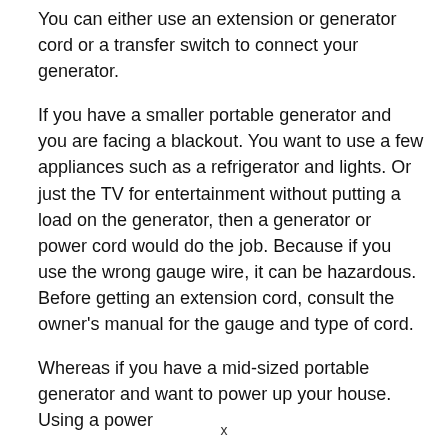You can either use an extension or generator cord or a transfer switch to connect your generator.
If you have a smaller portable generator and you are facing a blackout. You want to use a few appliances such as a refrigerator and lights. Or just the TV for entertainment without putting a load on the generator, then a generator or power cord would do the job. Because if you use the wrong gauge wire, it can be hazardous. Before getting an extension cord, consult the owner’s manual for the gauge and type of cord.
Whereas if you have a mid-sized portable generator and want to power up your house. Using a power
x